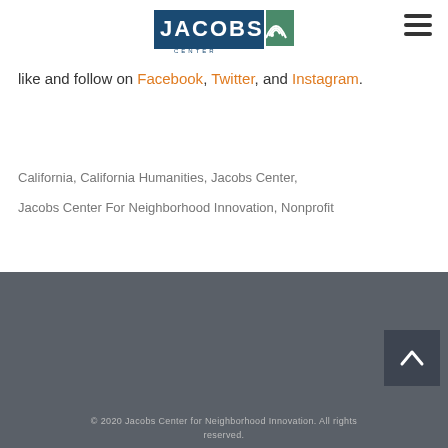[Figure (logo): Jacobs Center logo with stylized text and signal wave icon in blue and green]
like and follow on Facebook, Twitter, and Instagram.
California, California Humanities, Jacobs Center, Jacobs Center For Neighborhood Innovation, Nonprofit
© 2020 Jacobs Center for Neighborhood Innovation. All rights reserved.